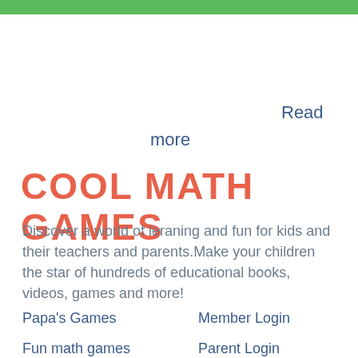Read more
COOL MATH GAMES
Discover a world of leraning and fun for kids and their teachers and parents.Make your children the star of hundreds of educational books, videos, games and more!
Papa's Games
Member Login
Fun math games
Parent Login